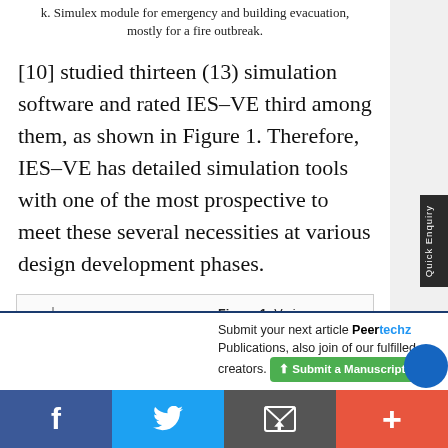k. Simulex module for emergency and building evacuation, mostly for a fire outbreak.
[10] studied thirteen (13) simulation software and rated IES-VE third among them, as shown in Figure 1. Therefore, IES-VE has detailed simulation tools with one of the most prospective to meet these several necessities at various design development phases.
[Figure (bar-chart): Bar chart showing various simulation tools ranked by frequency of use in previous studies, with bars decreasing in height from left to right.]
Figure 1: Various simulation tools used in previous studies
Submit your next article Peertechz Publications, also join of our fulfilled creators.
Submit a Manuscript